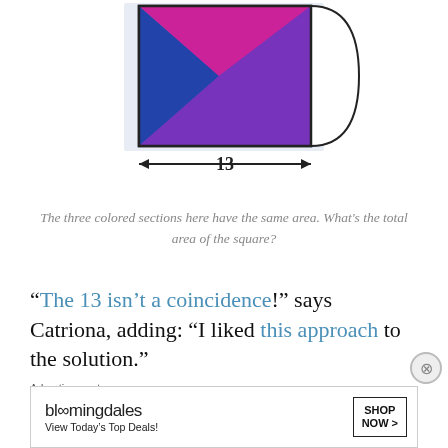[Figure (illustration): Colored geometric square divided into three triangular sections (blue, pink/magenta, purple) with a double-headed arrow labeled '13' below indicating the width.]
The three colored sections here have the same area. What's the total area of the square?
“The 13 isn’t a coincidence!” says Catriona, adding: “I liked this approach to the solution.”
Advertisements
[Figure (illustration): Advertisement banner reading 'Business in the front...']
Advertisements
[Figure (illustration): Bloomingdale's advertisement: 'View Today’s Top Deals!' with SHOP NOW button and image of woman in hat.]